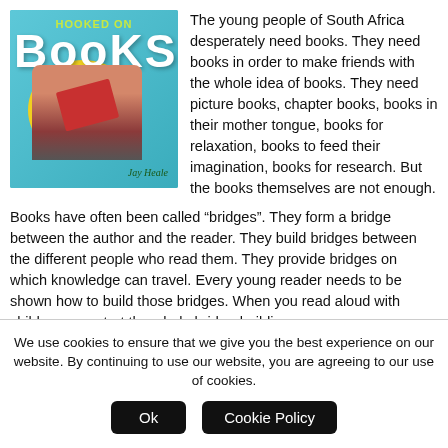[Figure (illustration): Book cover of 'Hooked on Books' by Jay Heale, showing a child reading a red book while lying in a yellow inflatable ring, on a teal/cyan background.]
The young people of South Africa desperately need books. They need books in order to make friends with the whole idea of books. They need picture books, chapter books, books in their mother tongue, books for relaxation, books to feed their imagination, books for research. But the books themselves are not enough.
Books have often been called “bridges”. They form a bridge between the author and the reader. They build bridges between the different people who read them. They provide bridges on which knowledge can travel. Every young reader needs to be shown how to build those bridges. When you read aloud with children, you start the whole bridge-building process.
We use cookies to ensure that we give you the best experience on our website. By continuing to use our website, you are agreeing to our use of cookies.